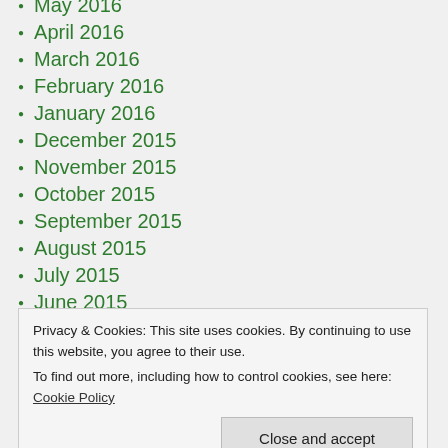May 2016
April 2016
March 2016
February 2016
January 2016
December 2015
November 2015
October 2015
September 2015
August 2015
July 2015
June 2015
May 2015
April 2015
March 2015
August 2014
July 2014
Privacy & Cookies: This site uses cookies. By continuing to use this website, you agree to their use. To find out more, including how to control cookies, see here: Cookie Policy
Close and accept